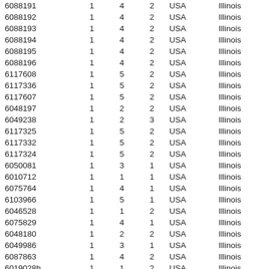| 6088191 | 1 | 4 | 2 | USA | Illinois |
| 6088192 | 1 | 4 | 2 | USA | Illinois |
| 6088193 | 1 | 4 | 2 | USA | Illinois |
| 6088194 | 1 | 4 | 2 | USA | Illinois |
| 6088195 | 1 | 4 | 2 | USA | Illinois |
| 6088196 | 1 | 4 | 2 | USA | Illinois |
| 6117608 | 1 | 5 | 2 | USA | Illinois |
| 6117336 | 1 | 5 | 2 | USA | Illinois |
| 6117607 | 1 | 5 | 2 | USA | Illinois |
| 6048197 | 1 | 2 | 2 | USA | Illinois |
| 6049238 | 1 | 2 | 3 | USA | Illinois |
| 6117325 | 1 | 5 | 2 | USA | Illinois |
| 6117332 | 1 | 5 | 2 | USA | Illinois |
| 6117324 | 1 | 5 | 2 | USA | Illinois |
| 6050081 | 1 | 3 | 1 | USA | Illinois |
| 6010712 | 1 | 1 | 1 | USA | Illinois |
| 6075764 | 1 | 4 | 1 | USA | Illinois |
| 6103966 | 1 | 5 | 1 | USA | Illinois |
| 6046528 | 1 | 1 | 2 | USA | Illinois |
| 6075829 | 1 | 4 | 1 | USA | Illinois |
| 6048180 | 1 | 2 | 2 | USA | Illinois |
| 6049986 | 1 | 3 | 1 | USA | Illinois |
| 6087863 | 1 | 4 | 2 | USA | Illinois |
| 6019028b | 1 | 1 | 2 | USA | Illinois |
| 6051169 | 1 | 3 | 2 | USA | Illinois |
| 6101611 | 1 | 5 | 1 | USA | Illinois |
| 6331391 | 1 | 5 | 3 | USA | Illinois |